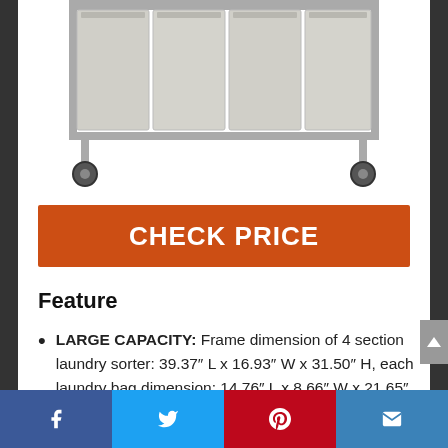[Figure (photo): Bottom portion of a 4-section laundry sorter on wheels with grey bins and metal frame]
CHECK PRICE
Feature
LARGE CAPACITY: Frame dimension of 4 section laundry sorter: 39.37″ L x 16.93″ W x 31.50″ H, each laundry bag dimension: 14.76″ L x 8.66″ W x 21.65″ H, each laundry bag can hold up to 25 lbs
Facebook | Twitter | Pinterest | Email